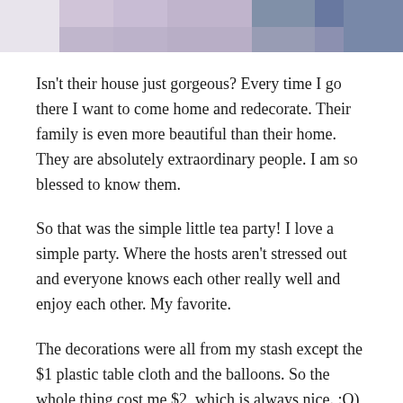[Figure (photo): Partial photo showing two people, cropped at bottom, visible at top of page]
Isn't their house just gorgeous? Every time I go there I want to come home and redecorate. Their family is even more beautiful than their home. They are absolutely extraordinary people. I am so blessed to know them.
So that was the simple little tea party! I love a simple party. Where the hosts aren't stressed out and everyone knows each other really well and enjoy each other. My favorite.
The decorations were all from my stash except the $1 plastic table cloth and the balloons. So the whole thing cost me $2, which is always nice. :O) Oh wait, no, that's a lie. I did buy the flowers, too.
Did you see the garland of big white circles? That was supposed to be a pearl necklace, and actually, I went to a